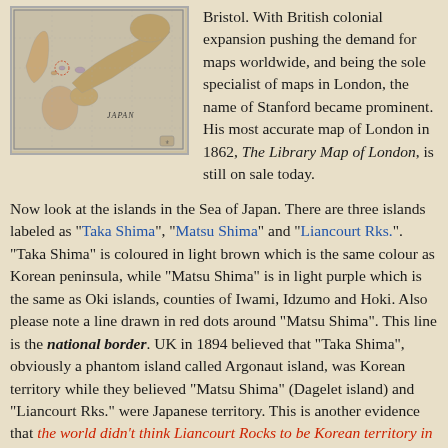[Figure (map): Antique map of Japan with colored regions showing Korean peninsula in light brown and Oki islands area in light purple, with label 'JAPAN']
Bristol. With British colonial expansion pushing the demand for maps worldwide, and being the sole specialist of maps in London, the name of Stanford became prominent. His most accurate map of London in 1862, The Library Map of London, is still on sale today.
Now look at the islands in the Sea of Japan. There are three islands labeled as "Taka Shima", "Matsu Shima" and "Liancourt Rks.". "Taka Shima" is coloured in light brown which is the same colour as Korean peninsula, while "Matsu Shima" is in light purple which is the same as Oki islands, counties of Iwami, Idzumo and Hoki. Also please note a line drawn in red dots around "Matsu Shima". This line is the national border. UK in 1894 believed that "Taka Shima", obviously a phantom island called Argonaut island, was Korean territory while they believed "Matsu Shima" (Dagelet island) and "Liancourt Rks." were Japanese territory. This is another evidence that the world didn't think Liancourt Rocks to be Korean territory in the 1890's, just a while before the #41 Korean Edict which mentioned Seokdo was issued in